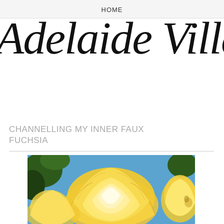HOME
Adelaide Villa
CHANNELLING MY INNER FAUX FUCHSIA
[Figure (photo): Close-up photograph of a large yellow rose in full bloom with blue sky and green foliage in the background]